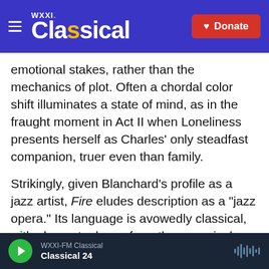WXXI Classical — Donate
emotional stakes, rather than the mechanics of plot. Often a chordal color shift illuminates a state of mind, as in the fraught moment in Act II when Loneliness presents herself as Charles' only steadfast companion, truer even than family.
Strikingly, given Blanchard's profile as a jazz artist, Fire eludes description as a "jazz opera." Its language is avowedly classical, with elements drawn from the canonical composers, like Puccini, that defined Blanchard's early exposure to the art form. But the smooth deployment of extended jazz harmony, often in breathing, fleeting passages,
WXXI-FM Classical — Classical 24